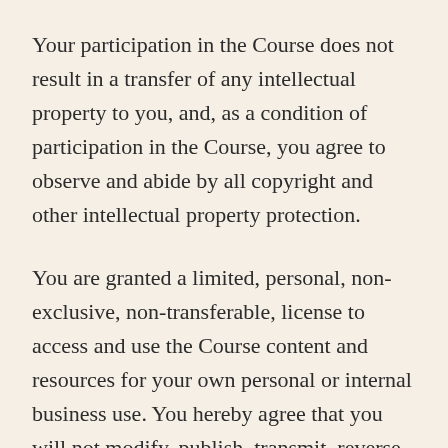Your participation in the Course does not result in a transfer of any intellectual property to you, and, as a condition of participation in the Course, you agree to observe and abide by all copyright and other intellectual property protection.
You are granted a limited, personal, non-exclusive, non-transferable, license to access and use the Course content and resources for your own personal or internal business use. You hereby agree that you will not modify, publish, transmit, reverse engineer, participate in the transfer or sale, create derivative works,